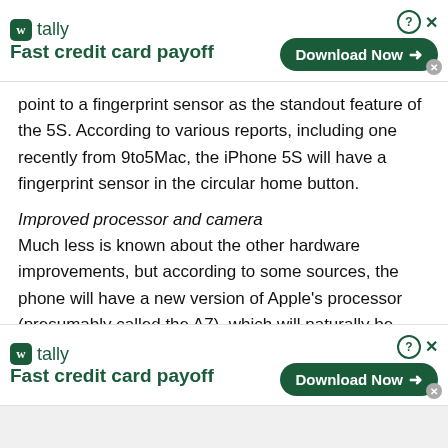[Figure (other): Tally app advertisement banner (top): logo, 'Fast credit card payoff' tagline, Download Now button with arrow, close and help icons.]
point to a fingerprint sensor as the standout feature of the 5S. According to various reports, including one recently from 9to5Mac, the iPhone 5S will have a fingerprint sensor in the circular home button.
Improved processor and camera
Much less is known about the other hardware improvements, but according to some sources, the phone will have a new version of Apple's processor (presumably called the A7), which will naturally be faster and more efficient, aiding with
[Figure (other): Tally app advertisement banner (bottom duplicate): logo, 'Fast credit card payoff' tagline, Download Now button with arrow, close and help icons.]